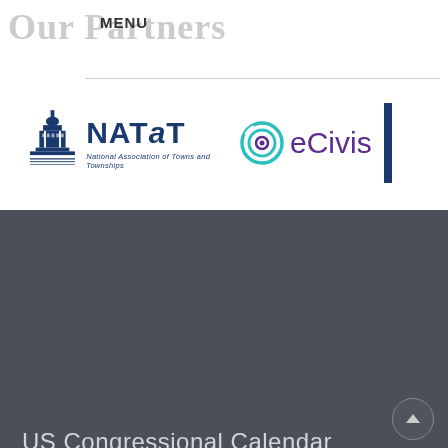Our Partners
MENU
[Figure (logo): NATaT - National Association of Towns and Townships logo with Capitol building illustration]
[Figure (logo): eCivis logo with teal circular target icon]
US Congressional Calendar
28 June 2021
TFG 2021 Congressional Calendar
The Ferguson Group (TFG) compiled a 2021 Congressional Calendar with important House and Senate dates.
The Ferguson Group (TFG) compiled a 2021 Calendar with session and recess dates for the U.S. House of Representatives and U.S. Senate 117th Congressional session. The calendar also includes the titles of Members of Congress in Senate and House leadership for the 117th Congress. Read